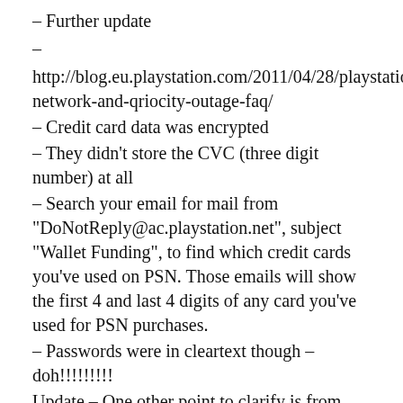– Further update
–
http://blog.eu.playstation.com/2011/04/28/playstation-network-and-qriocity-outage-faq/
– Credit card data was encrypted
– They didn't store the CVC (three digit number) at all
– Search your email for mail from "DoNotReply@ac.playstation.net", subject "Wallet Funding", to find which credit cards you've used on PSN. Those emails will show the first 4 and last 4 digits of any card you've used for PSN purchases.
– Passwords were in cleartext though – doh!!!!!!!!!
Update – One other point to clarify is from this weekend's press conference. While the passwords that were stored were not "encrypted," they were transformed using a cryptographic hash function. There is a difference between these two types of security measures which is why we said the